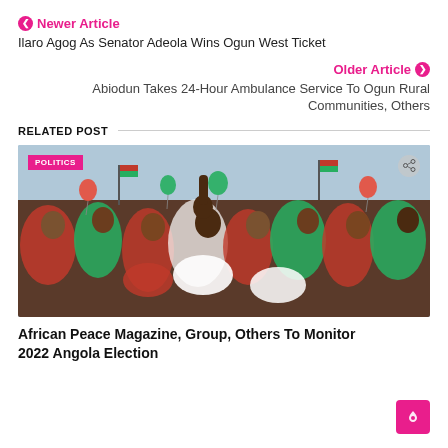❮ Newer Article
Ilaro Agog As Senator Adeola Wins Ogun West Ticket
Older Article ❯
Abiodun Takes 24-Hour Ambulance Service To Ogun Rural Communities, Others
RELATED POST
[Figure (photo): A crowd of women in red and green outfits celebrating outdoors, holding balloons and flags, with a POLITICS badge overlay]
African Peace Magazine, Group, Others To Monitor 2022 Angola Election